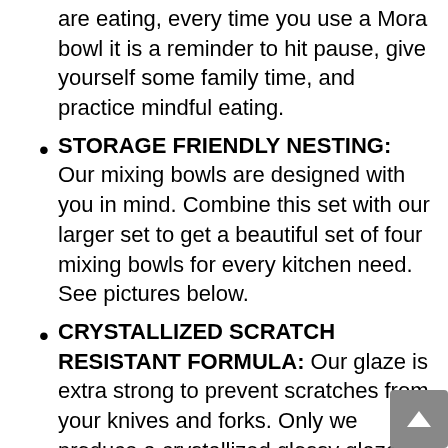are eating, every time you use a Mora bowl it is a reminder to hit pause, give yourself some family time, and practice mindful eating.
STORAGE FRIENDLY NESTING: Our mixing bowls are designed with you in mind. Combine this set with our larger set to get a beautiful set of four mixing bowls for every kitchen need. See pictures below.
CRYSTALLIZED SCRATCH RESISTANT FORMULA: Our glaze is extra strong to prevent scratches from your knives and forks. Only we produce a crystallized glossy glaze that is strong enough to resist scratches under 1000 grams of pressure. Please note dark marks may occur due to finish on